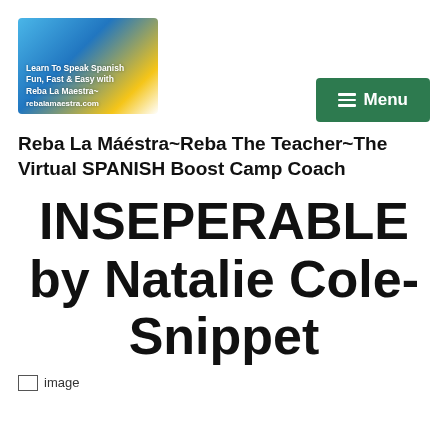[Figure (logo): Logo image for rebalamaestra.com – colorful card with text 'Learn To Speak Spanish Fun, Fast & Easy with Reba La Maestra~' and 'rebalamaestra.com']
Menu
Reba La Máéstra~Reba The Teacher~The Virtual SPANISH Boost Camp Coach
INSEPERABLE by Natalie Cole-Snippet
[Figure (illustration): Broken/missing image placeholder labeled 'image']